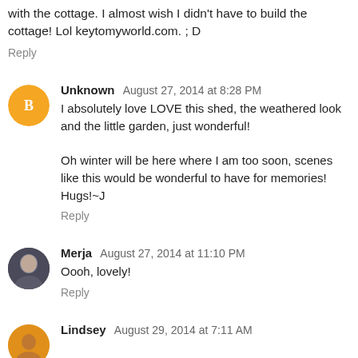with the cottage. I almost wish I didn't have to build the cottage! Lol keytomyworld.com. ; D
Reply
Unknown  August 27, 2014 at 8:28 PM
I absolutely love LOVE this shed, the weathered look and the little garden, just wonderful!

Oh winter will be here where I am too soon, scenes like this would be wonderful to have for memories!
Hugs!~J
Reply
Merja  August 27, 2014 at 11:10 PM
Oooh, lovely!
Reply
Lindsey  August 29, 2014 at 7:11 AM